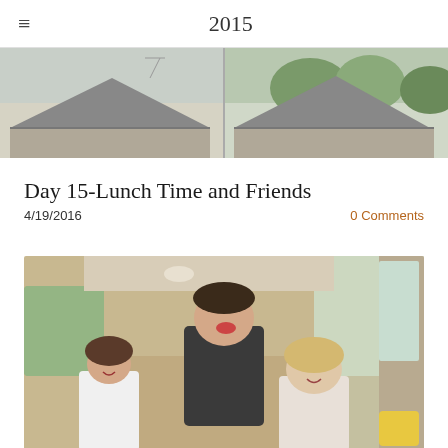≡  2015
[Figure (photo): Banner photo showing rooftops of suburban houses with trees in background, split into two panels]
Day 15-Lunch Time and Friends
4/19/2016    0 Comments
[Figure (photo): Three children inside a minivan — a boy in dark shirt in the back leaning forward with mouth open, and two girls in front smiling at the camera, suburban greenery visible outside]